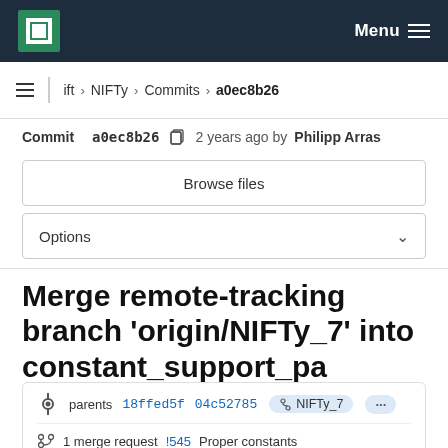MPCDF Menu
ift › NIFTy › Commits › a0ec8b26
Commit a0ec8b26  2 years ago by Philipp Arras
Browse files
Options
Merge remote-tracking branch 'origin/NIFTy_7' into constant_support_pa
parents 18ffed5f 04c52785  NIFTy_7  ···
1 merge request !545 Proper constants